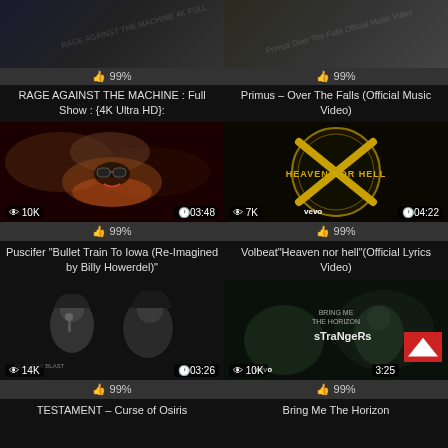[Figure (screenshot): Top row: two video thumbnails partially cut off at top with 99% like bars]
👍 99%
👍 99%
RAGE AGAINST THE MACHINE : Full Show : {4K Ultra HD}:
Primus – Over The Falls (Official Music Video)
[Figure (screenshot): Puscifer video thumbnail - face with sunglasses in cloudy sky, 10K views, 03:48]
👍 99%
[Figure (screenshot): Volbeat Heaven Nor Hell album art thumbnail, 7K views, 04:22]
👍 99%
Puscifer "Bullet Train To Iowa (Re-Imagined by Billy Howerdel)"
Volbeat"Heaven nor hell"(Official Lyrics Video)
[Figure (screenshot): Testament video thumbnail - black and white metal band performance, 14K views, 03:26]
👍 99%
[Figure (screenshot): Bring Me The Horizon sTraNgeRs video thumbnail, 10K views, 3:25, with red back-to-top button]
👍 99%
TESTAMENT – Curse of Osiris
Bring Me The Horizon